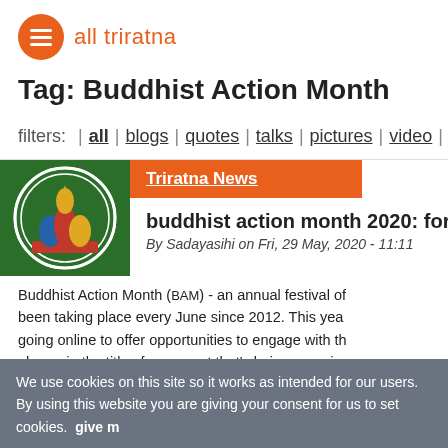all triratna
Tag: Buddhist Action Month
filters: | all | blogs | quotes | talks | pictures | video |
Triratna News
buddhist action month 2020: for the ear...
By Sadayasihi on Fri, 29 May, 2020 - 11:11
Buddhist Action Month (BAM) - an annual festival of... been taking place every June since 2012. This yea... going online to offer opportunities to engage with th... phrase in the title of any event that's being organise...
We use cookies on this site so it works as intended for our users. By using this website you are giving your consent for us to set cookies. give m